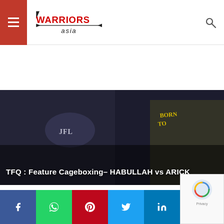Warriors Asia — navigation header with hamburger menu and search icon
[Figure (screenshot): Warriors Asia logo with stylized red text and Asia script underneath, on white navigation bar]
[Figure (photo): Hero banner image showing two fighters in dark arena, one wearing JFL shirt, other wearing 'Born To Fight' shirt. Dark background with overlay text.]
TFQ : Feature Cageboxing– HABULLAH vs ARICK
MARTIAL ARTS EVENTS COVERAGE
[Figure (screenshot): Social sharing buttons row: Facebook (blue), WhatsApp (green), Pinterest (red), Twitter (light blue), LinkedIn (dark blue)]
[Figure (screenshot): reCAPTCHA privacy box in bottom right corner with rotating arrows icon and Privacy label]